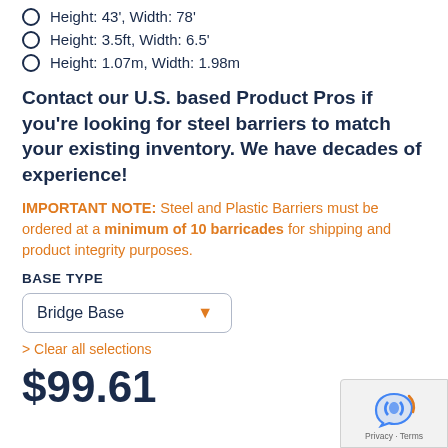Height: 43', Width: 78'
Height: 3.5ft, Width: 6.5'
Height: 1.07m, Width: 1.98m
Contact our U.S. based Product Pros if you're looking for steel barriers to match your existing inventory. We have decades of experience!
IMPORTANT NOTE: Steel and Plastic Barriers must be ordered at a minimum of 10 barricades for shipping and product integrity purposes.
BASE TYPE
Bridge Base
> Clear all selections
$99.61